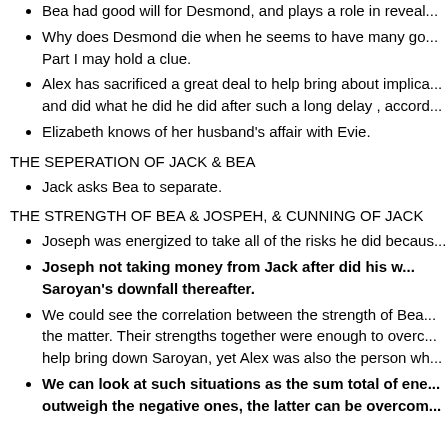Bea had good will for Desmond, and plays a role in reveal...
Why does Desmond die when he seems to have many go... Part I may hold a clue.
Alex has sacrificed a great deal to help bring about implica... and did what he did he did after such a long delay , accord...
Elizabeth knows of her husband's affair with Evie.
THE SEPERATION OF JACK & BEA
Jack asks Bea to separate.
THE STRENGTH OF BEA & JOSPEH, & CUNNING OF JACK
Joseph was energized to take all of the risks he did becaus...
Joseph not taking money from Jack after did his w... Saroyan's downfall thereafter.
We could see the correlation between the strength of Bea... the matter. Their strengths together were enough to overc... help bring down Saroyan, yet Alex was also the person wh...
We can look at such situations as the sum total of ene... outweigh the negative ones, the latter can be overcom...